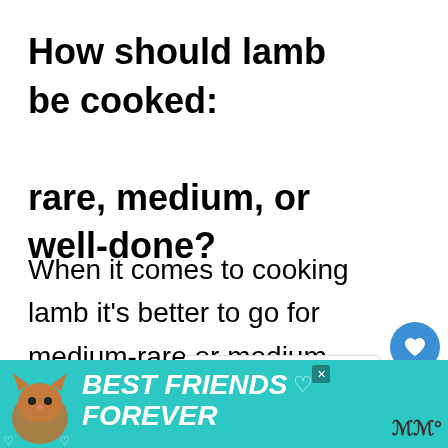How should lamb be cooked: rare, medium, or well-done?
When it comes to cooking lamb it's better to go for medium-rare or medium. Keeping it rare may make some people skeptical and anxious about the and it may not be a preferred choice for
[Figure (screenshot): A 'What's Next' widget showing a corn image with text 'Can Deer Eat Corn on the...']
[Figure (screenshot): Like button (heart icon) in blue circle with count 1, and share button below]
[Figure (screenshot): Advertisement banner with teal background showing 'BEST FRIENDS FOREVER' with a cat illustration and hearts, with close X button and logo]